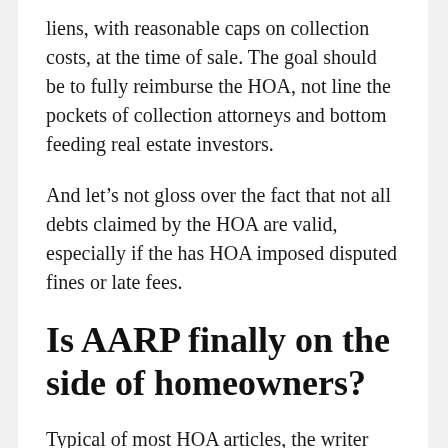liens, with reasonable caps on collection costs, at the time of sale. The goal should be to fully reimburse the HOA, not line the pockets of collection attorneys and bottom feeding real estate investors.
And let's not gloss over the fact that not all debts claimed by the HOA are valid, especially if the has HOA imposed disputed fines or late fees.
Is AARP finally on the side of homeowners?
Typical of most HOA articles, the writer consults with industry trade group